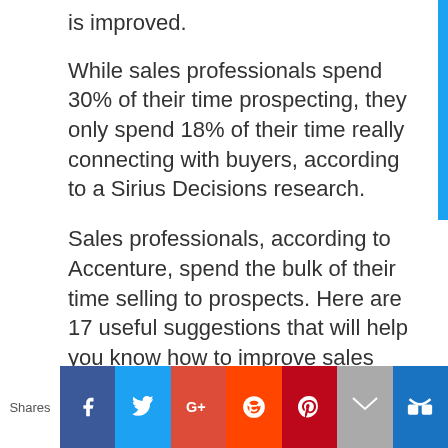is improved.
While sales professionals spend 30% of their time prospecting, they only spend 18% of their time really connecting with buyers, according to a Sirius Decisions research.
Sales professionals, according to Accenture, spend the bulk of their time selling to prospects. Here are 17 useful suggestions that will help you know how to improve sales performance:
1. Be desperate